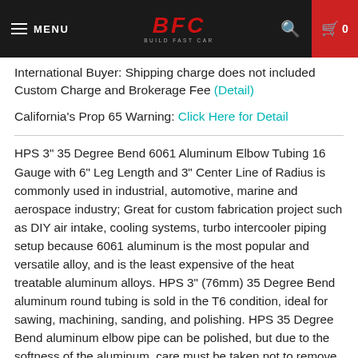MENU | BFC BUILD FAST CAR | [search] [cart 0]
International Buyer: Shipping charge does not included Custom Charge and Brokerage Fee (Detail)
California's Prop 65 Warning: Click Here for Detail
HPS 3" 35 Degree Bend 6061 Aluminum Elbow Tubing 16 Gauge with 6" Leg Length and 3" Center Line of Radius is commonly used in industrial, automotive, marine and aerospace industry; Great for custom fabrication project such as DIY air intake, cooling systems, turbo intercooler piping setup because 6061 aluminum is the most popular and versatile alloy, and is the least expensive of the heat treatable aluminum alloys. HPS 3" (76mm) 35 Degree Bend aluminum round tubing is sold in the T6 condition, ideal for sawing, machining, sanding, and polishing. HPS 35 Degree Bend aluminum elbow pipe can be polished, but due to the softness of the aluminum, care must be taken not to remove too much material, especially in the area near any welds. All